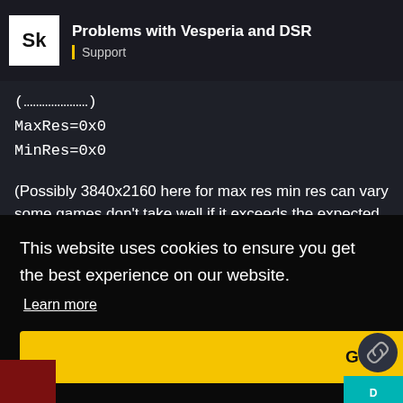Problems with Vesperia and DSR | Support
MaxRes=0x0
MinRes=0x0
(Possibly 3840x2160 here for max res min res can vary some games don't take well if it exceeds the expected often 1280x720 or 1920x1080 min res and might scale badly or crash on start.)
Flip model should work too I'd test it if the games using
This website uses cookies to ensure you get the best experience on our website.
Learn more
Got it!